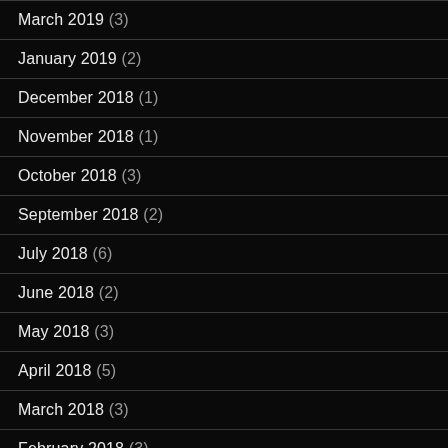March 2019 (3)
January 2019 (2)
December 2018 (1)
November 2018 (1)
October 2018 (3)
September 2018 (2)
July 2018 (6)
June 2018 (2)
May 2018 (3)
April 2018 (5)
March 2018 (3)
February 2018 (3)
January 2018 (4)